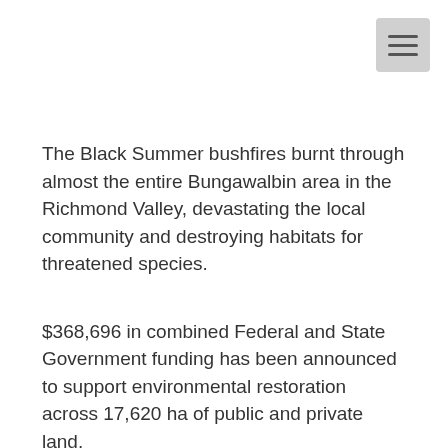[Figure (other): Hamburger menu button (three horizontal lines) in top-right corner]
The Black Summer bushfires burnt through almost the entire Bungawalbin area in the Richmond Valley, devastating the local community and destroying habitats for threatened species.
$368,696 in combined Federal and State Government funding has been announced to support environmental restoration across 17,620 ha of public and private land.
Federal Member for Page Kevin Hogan said this project will do important work to restore our natural environment